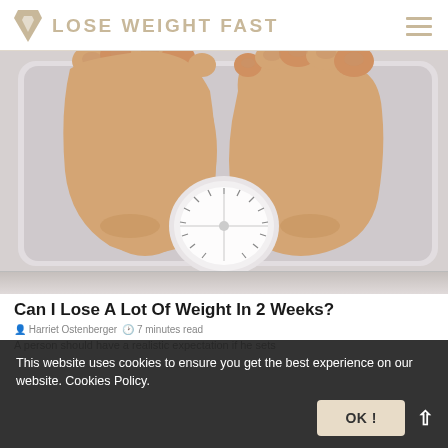LOSE WEIGHT FAST
[Figure (illustration): Illustration of feet standing on a bathroom weight scale, viewed from above. The scale is light grey/lavender with a round white dial visible between the feet.]
[Figure (illustration): Partial view of a second image strip at the bottom of the hero section.]
Can I Lose A Lot Of Weight In 2 Weeks?
Harriet Ostenberger · 7 minutes read
A person should have a realistic expectation if he sets
This website uses cookies to ensure you get the best experience on our website. Cookies Policy.